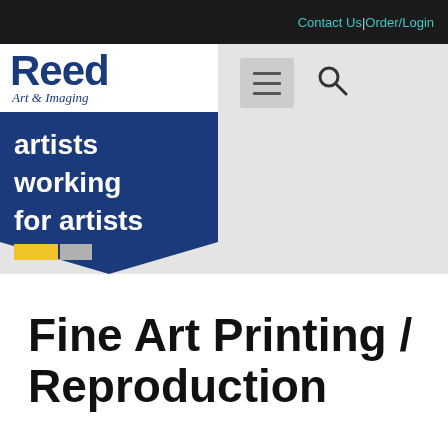Contact Us | Order/Login
[Figure (logo): Reed Art & Imaging logo with 'artists working for artists' banner]
Fine Art Printing / Reproduction